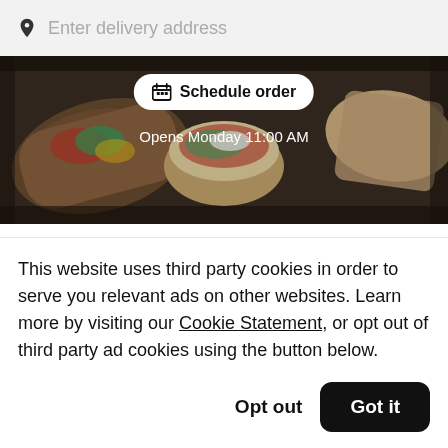Enter delivery address
[Figure (photo): Food photo showing tacos and burritos in takeout containers, with a 'Schedule order' button overlay and text 'Opens Monday 11:00 AM']
La estación del taco
Mexican • Latin American • New Mexican
Budget friendly • Short service • Office • Contemporary • office...
This website uses third party cookies in order to serve you relevant ads on other websites. Learn more by visiting our Cookie Statement, or opt out of third party ad cookies using the button below.
Opt out
Got it